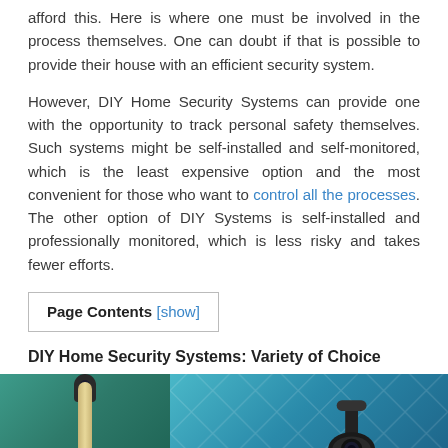afford this. Here is where one must be involved in the process themselves. One can doubt if that is possible to provide their house with an efficient security system.
However, DIY Home Security Systems can provide one with the opportunity to track personal safety themselves. Such systems might be self-installed and self-monitored, which is the least expensive option and the most convenient for those who want to control all the processes. The other option of DIY Systems is self-installed and professionally monitored, which is less risky and takes fewer efforts.
Page Contents [show]
DIY Home Security Systems: Variety of Choice
[Figure (photo): Two security cameras on different colored backgrounds — left: a slim upright camera on teal/green background; right: a dome/barrel security camera on blue geometric pattern background]